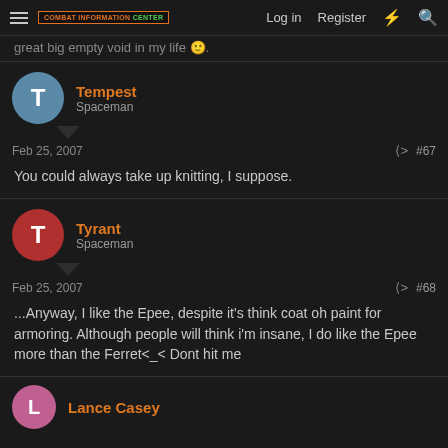COMBAT INFORMATION CENTER | Log in | Register
great big empty void in my life 🙂
Tempest
Spaceman
Feb 25, 2007  #67
You could always take up knitting, I suppose.
Tyrant
Spaceman
Feb 25, 2007  #68
...Anyway, I like the Epee, despite it's think coat oh paint for armoring. Although people will think i'm insane, I do like the Epee more than the Ferret<_< Dont hit me
Lance Casey